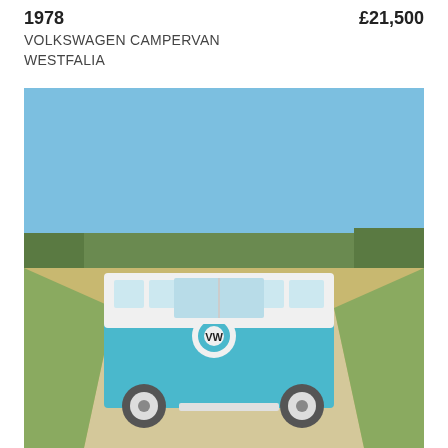1978   £21,500
VOLKSWAGEN CAMPERVAN WESTFALIA
[Figure (photo): A blue and white Volkswagen Type 2 (T1) split-screen campervan/bus parked on a gravel path in a rural landscape with open fields and a clear blue sky.]
1975   £19,995
VOLKSWAGEN CAMPERVAN